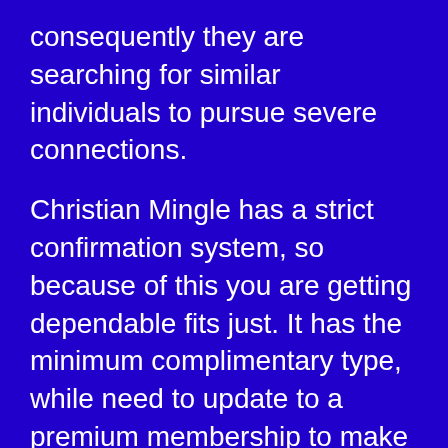consequently they are searching for similar individuals to pursue severe connections.
Christian Mingle has a strict confirmation system, so because of this you are getting dependable fits just. It has the minimum complimentary type, while need to update to a premium membership to make use of every one of the platform’s attributes.
Highlights:
Christian Mingle try a special dating system the Christian society
Individual Christians are searching for similar